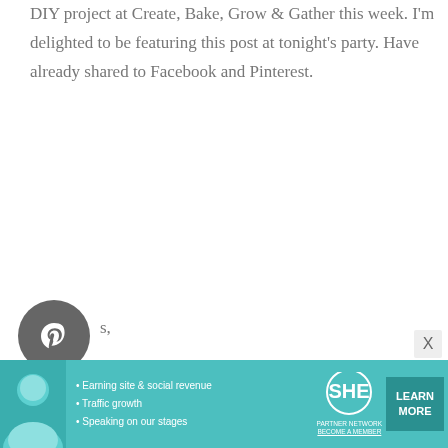DIY project at Create, Bake, Grow & Gather this week. I'm delighted to be featuring this post at tonight's party. Have already shared to Facebook and Pinterest.
s,
ryanne
Reply
Sarah @ The DIY Mommy says:
[Figure (other): Advertisement banner for SHE Partner Network with bullet points: Earning site & social revenue, Traffic growth, Speaking on our stages. Includes LEARN MORE button.]